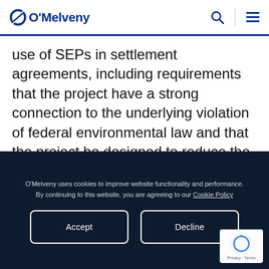O'Melveny
use of SEPs in settlement agreements, including requirements that the project have a strong connection to the underlying violation of federal environmental law and that the project be designed to reduce the detrimental effects of the violation and the likelihood of similar violations in the future.
O'Melveny uses cookies to improve website functionality and performance. By continuing to this website, you are agreeing to our Cookie Policy
Accept
Decline